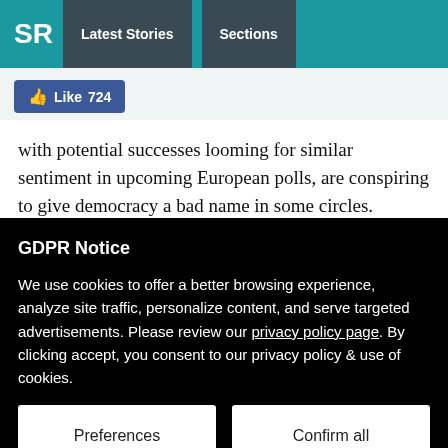SR | Latest Stories | Sections
[Figure (screenshot): Facebook Like button showing 724 likes]
with potential successes looming for similar sentiment in upcoming European polls, are conspiring to give democracy a bad name in some circles.
GDPR Notice
We use cookies to offer a better browsing experience, analyze site traffic, personalize content, and serve targeted advertisements. Please review our privacy policy page. By clicking accept, you consent to our privacy policy & use of cookies.
Preferences | Confirm all